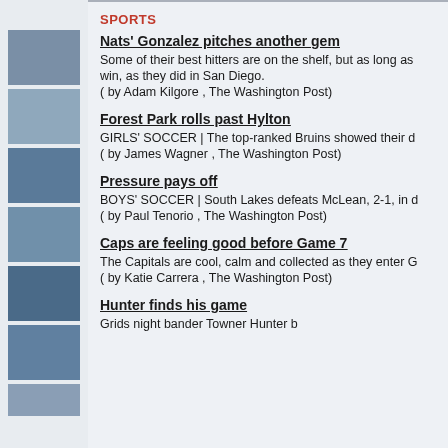SPORTS
Nats' Gonzalez pitches another gem
Some of their best hitters are on the shelf, but as long as win, as they did in San Diego.
( by Adam Kilgore , The Washington Post)
Forest Park rolls past Hylton
GIRLS' SOCCER | The top-ranked Bruins showed their d
( by James Wagner , The Washington Post)
Pressure pays off
BOYS' SOCCER | South Lakes defeats McLean, 2-1, in d
( by Paul Tenorio , The Washington Post)
Caps are feeling good before Game 7
The Capitals are cool, calm and collected as they enter G
( by Katie Carrera , The Washington Post)
Hunter finds his game